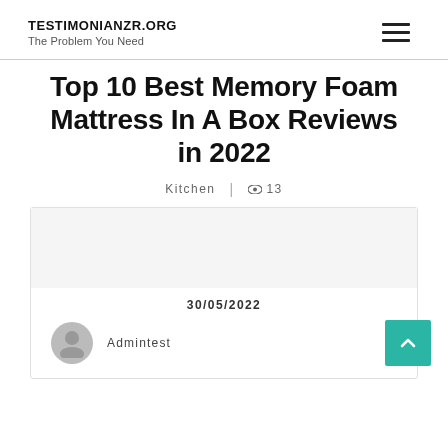TESTIMONIANZR.ORG
The Problem You Need
Top 10 Best Memory Foam Mattress In A Box Reviews in 2022
Kitchen | 13
30/05/2022
Admintest